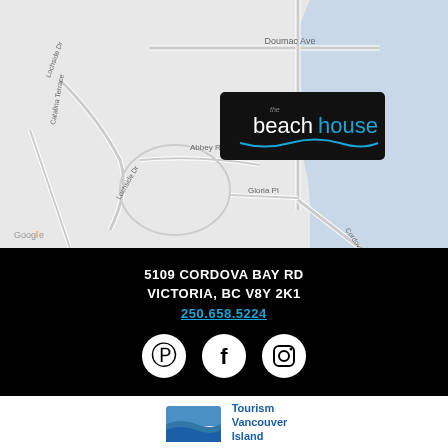[Figure (map): Google Maps screenshot showing Cordova Bay area with streets including Doumac Ave, Bay Rd, Abbey Rd, Gloria Pl, Catalina Terrace, Lochside Dr. The Beach House logo overlay on the map. Water body visible on the right side.]
5109 CORDOVA BAY RD
VICTORIA, BC V8Y 2K1
250.658.5224
[Figure (illustration): Social media icons: Pinterest, Facebook, Instagram - white circular icons on black background]
[Figure (logo): Tourism Vancouver Island logo with blue wave graphic and text]
Copyright © 2016 - 2022 The Beach House Restaurant | A Victoria BC resaurant website by Radar Hill Web Design